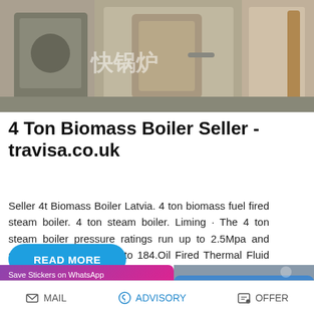[Figure (photo): Industrial biomass boiler equipment, metallic stainless steel units in a factory setting with Chinese watermark text]
4 Ton Biomass Boiler Seller - travisa.co.uk
Seller 4t Biomass Boiler Latvia. 4 ton biomass fuel fired steam boiler. 4 ton steam boiler. Liming · The 4 ton steam boiler pressure ratings run up to 2.5Mpa and steam temperatures up to 184.Oil Fired Thermal Fluid Heat
[Figure (screenshot): WhatsApp sticker save banner with purple-to-pink gradient, WhatsApp phone icon and emoji icon visible]
[Figure (photo): Partial view of blue/colorful industrial pipes or boiler components]
MAIL   ADVISORY   OFFER